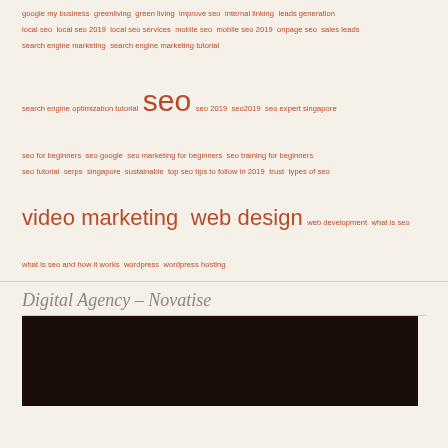google my business greenliving green living improve seo internal linking leads generation local seo local seo 2019 local seo services mobile seo mobile seo 2019 onpage seo sales leads search engine marketing search engine marketing tutorial search engine optimization tutorial seo seo 2019 seo2019 seo expert singapore seo for beginners seo google seo marketing for beginners seo training for beginners seo tutorial serps singapore sustainable top seo tips to follow in 2019 trust types of seo video marketing web design web development what is seo what is seo and how it works wordpress wordpress hosting
Digital Agency – Novatise
[Figure (photo): Dark brown/black image block, likely a website screenshot thumbnail]